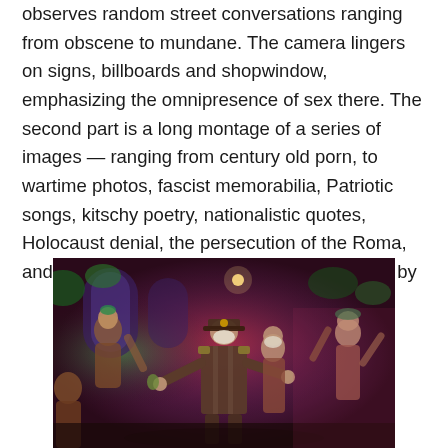observes random street conversations ranging from obscene to mundane. The camera lingers on signs, billboards and shopwindow, emphasizing the omnipresence of sex there. The second part is a long montage of a series of images — ranging from century old porn, to wartime photos, fascist memorabilia, Patriotic songs, kitschy poetry, nationalistic quotes, Holocaust denial, the persecution of the Roma, and much more. Each image is accompanied by
[Figure (photo): A group of people in costumes at what appears to be a party or theatrical event. A central figure is dressed in a military uniform with a peaked cap and face mask, gesturing with arms outstretched. Others around wear colorful costumes and masks. The setting has dramatic lighting with purple and red tones, with arched windows and foliage in the background.]